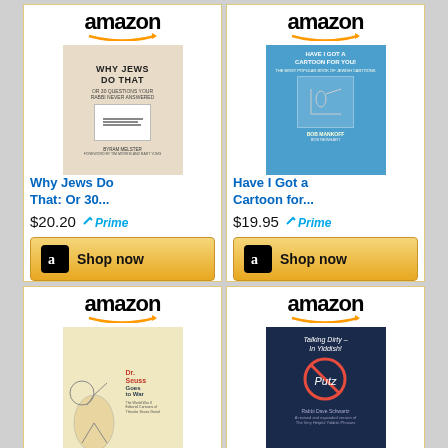[Figure (screenshot): Amazon product listing card for 'Why Jews Do That: Or 30...', price $20.20, with Prime badge and Shop now button]
[Figure (screenshot): Amazon product listing card for 'Have I Got a Cartoon for...', price $19.95, with Prime badge and Shop now button]
[Figure (screenshot): Amazon product listing card for 'Dr. Seuss Goes to War: The...', price $12.99]
[Figure (screenshot): Amazon product listing card for 'Talking Dirty - In Yiddish?', price $12.97, with Prime badge]